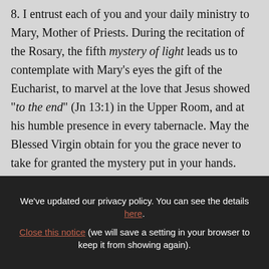8. I entrust each of you and your daily ministry to Mary, Mother of Priests. During the recitation of the Rosary, the fifth mystery of light leads us to contemplate with Mary's eyes the gift of the Eucharist, to marvel at the love that Jesus showed "to the end" (Jn 13:1) in the Upper Room, and at his humble presence in every tabernacle. May the Blessed Virgin obtain for you the grace never to take for granted the mystery put in your hands. With endless gratitude to the Lord for the amazing
We've updated our privacy policy. You can see the details here.
Close this notice (we will save a setting in your browser to keep it from showing again).